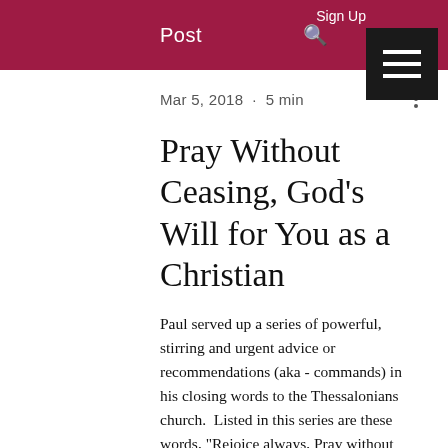Post
Mar 5, 2018 · 5 min
Pray Without Ceasing, God's Will for You as a Christian
Paul served up a series of powerful, stirring and urgent advice or recommendations (aka - commands) in his closing words to the Thessalonians church.  Listed in this series are these words, "Rejoice always, Pray without ceasing, in everything give thanks." Today we will focus mostly on Pray